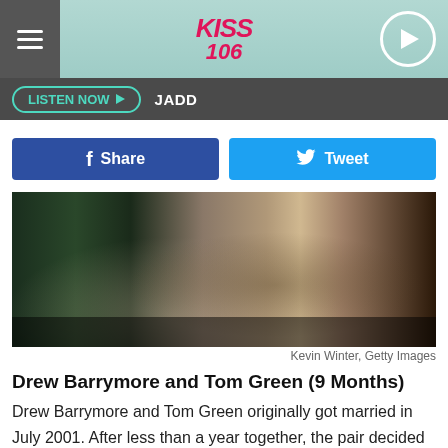KISS 106
LISTEN NOW  JADD
[Figure (photo): Two people embracing, one wearing a teal jacket and the other in brown/grey textured clothing]
Kevin Winter, Getty Images
Drew Barrymore and Tom Green (9 Months)
Drew Barrymore and Tom Green originally got married in July 2001. After less than a year together, the pair decided to throw in the towel in October 2002. “I don’t really tend to talk about it that much comfortably [or] publicly,” Green explained